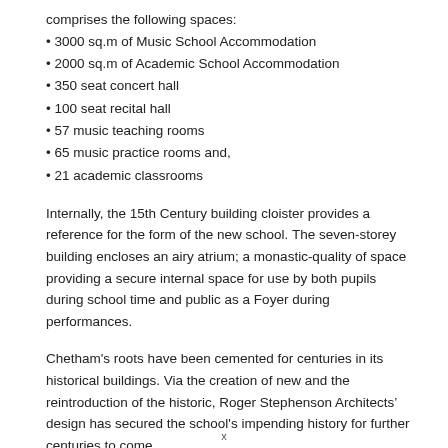comprises the following spaces:
3000 sq.m of Music School Accommodation
2000 sq.m of Academic School Accommodation
350 seat concert hall
100 seat recital hall
57 music teaching rooms
65 music practice rooms and,
21 academic classrooms
Internally, the 15th Century building cloister provides a reference for the form of the new school. The seven-storey building encloses an airy atrium; a monastic-quality of space providing a secure internal space for use by both pupils during school time and public as a Foyer during performances.
Chetham's roots have been cemented for centuries in its historical buildings. Via the creation of new and the reintroduction of the historic, Roger Stephenson Architects' design has secured the school's impending history for further centuries to come.
x